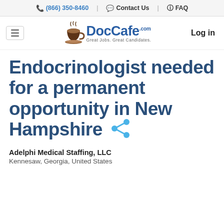📞 (866) 350-8460 | 💬 Contact Us | ❓ FAQ
[Figure (logo): DocCafe.com logo with coffee cup icon and tagline 'Great Jobs. Great Candidates']
Endocrinologist needed for a permanent opportunity in New Hampshire
Adelphi Medical Staffing, LLC
Kennesaw, Georgia, United States